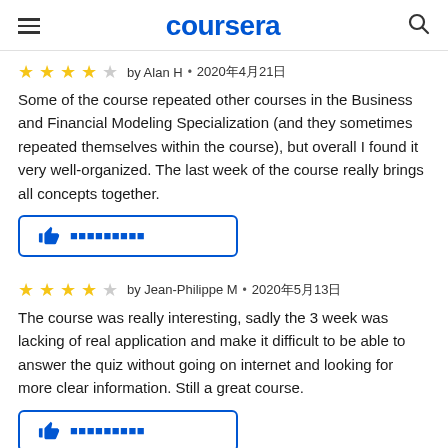coursera
by Alan H · 2020年4月21日 — 4 stars
Some of the course repeated other courses in the Business and Financial Modeling Specialization (and they sometimes repeated themselves within the course), but overall I found it very well-organized. The last week of the course really brings all concepts together.
👍 此评论有帮助吗？
by Jean-Philippe M · 2020年5月13日 — 4 stars
The course was really interesting, sadly the 3 week was lacking of real application and make it difficult to be able to answer the quiz without going on internet and looking for more clear information. Still a great course.
👍 此评论有帮助吗？